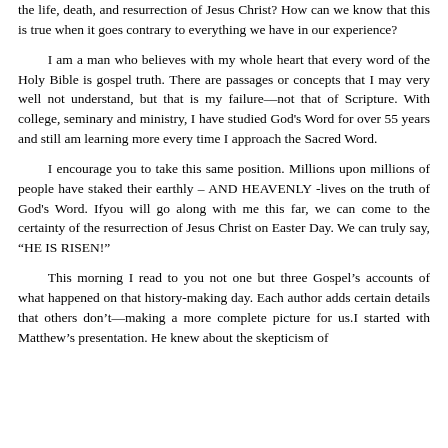the life, death, and resurrection of Jesus Christ? How can we know that this is true when it goes contrary to everything we have in our experience?
I am a man who believes with my whole heart that every word of the Holy Bible is gospel truth. There are passages or concepts that I may very well not understand, but that is my failure—not that of Scripture. With college, seminary and ministry, I have studied God's Word for over 55 years and still am learning more every time I approach the Sacred Word.
I encourage you to take this same position. Millions upon millions of people have staked their earthly – AND HEAVENLY -lives on the truth of God's Word. Ifyou will go along with me this far, we can come to the certainty of the resurrection of Jesus Christ on Easter Day. We can truly say, "HE IS RISEN!"
This morning I read to you not one but three Gospel's accounts of what happened on that history-making day. Each author adds certain details that others don't—making a more complete picture for us.I started with Matthew's presentation. He knew about the skepticism of